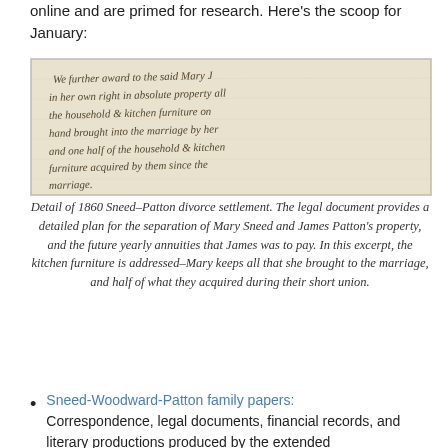online and are primed for research. Here's the scoop for January:
[Figure (photo): Handwritten historical document — detail of 1860 Sneed-Patton divorce settlement in cursive script on aged paper]
Detail of 1860 Sneed–Patton divorce settlement. The legal document provides a detailed plan for the separation of Mary Sneed and James Patton's property, and the future yearly annuities that James was to pay. In this excerpt, the kitchen furniture is addressed–Mary keeps all that she brought to the marriage, and half of what they acquired during their short union.
Sneed-Woodward-Patton family papers: Correspondence, legal documents, financial records, and literary productions produced by the extended